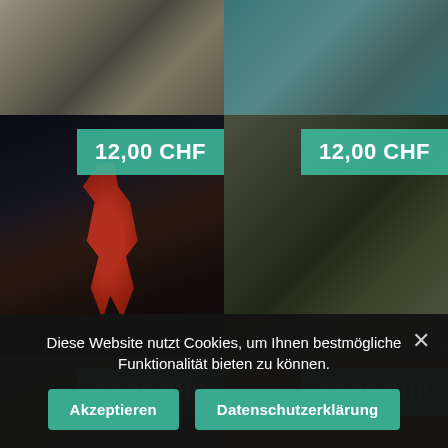[Figure (photo): Grid of six photos showing urban/nature scenes. Top-left: concrete architecture. Top-right: teal/green abstract. Middle-left: red mannequin figure in water at night with city lights. Middle-right: autumn leaves and water fountain. Bottom-left: trees with autumn foliage from below. Bottom-right: golden autumn tree canopy. Each of the four non-top photos has a teal price tag reading '12,00 CHF'.]
Diese Website nutzt Cookies, um Ihnen bestmögliche Funktionalität bieten zu können.
Akzeptieren
Datenschutzerklärung